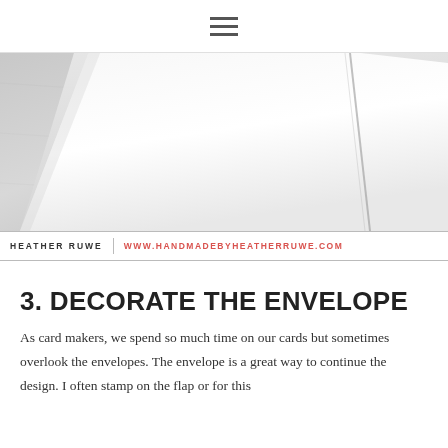≡
[Figure (photo): Close-up photograph of white envelopes stacked at an angle, shown in black and white/grayscale. The envelope flap is visible at the top.]
HEATHER RUWE   WWW.HANDMADEBYHEATHERRUWE.COM
3. DECORATE THE ENVELOPE
As card makers, we spend so much time on our cards but sometimes overlook the envelopes. The envelope is a great way to continue the design. I often stamp on the flap or for this